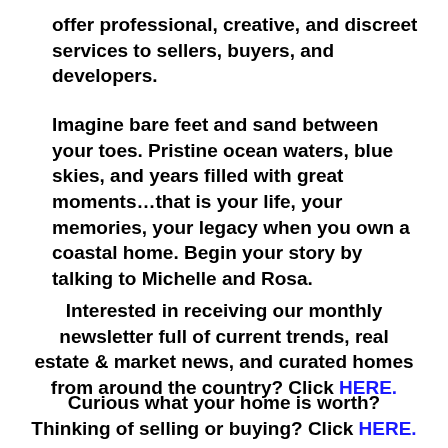offer professional, creative, and discreet services to sellers, buyers, and developers.
Imagine bare feet and sand between your toes. Pristine ocean waters, blue skies, and years filled with great moments…that is your life, your memories, your legacy when you own a coastal home. Begin your story by talking to Michelle and Rosa.
Interested in receiving our monthly newsletter full of current trends, real estate & market news, and curated homes from around the country? Click HERE.
Curious what your home is worth? Thinking of selling or buying? Click HERE.